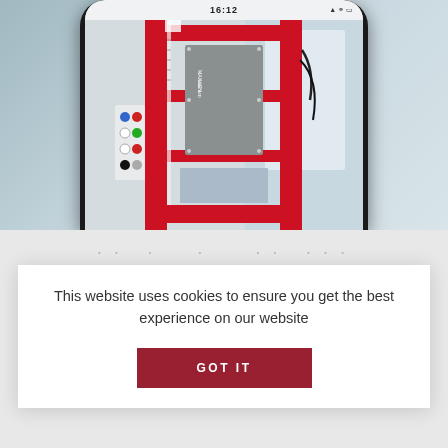[Figure (screenshot): A smartphone displaying a red industrial machine/press equipment, with a status bar showing time 16:12]
• • • • • • • • • • • • • •
We show list of pl...
This website uses cookies to ensure you get the best experience on our website
GOT IT